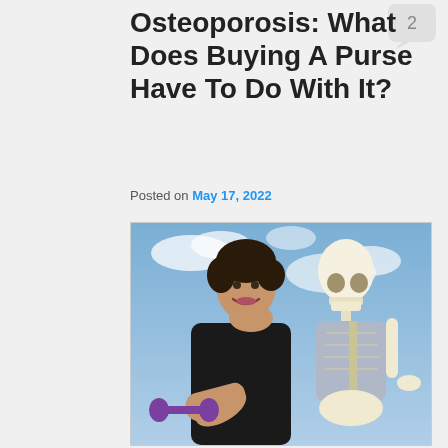Osteoporosis: What Does Buying A Purse Have To Do With It?
Posted on May 17, 2022
[Figure (photo): A smiling woman in a black sleeveless top holds purple dumbbells, standing next to an anatomical human skeleton model dressed in a blue-grey sweater, against a blue sky background.]